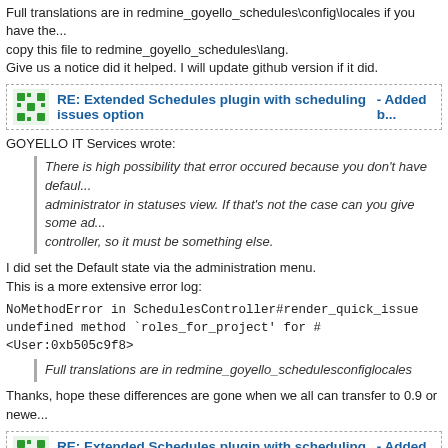Full translations are in redmine_goyello_schedules\config\locales if you have the... copy this file to redmine_goyello_schedules\lang. Give us a notice did it helped. I will update github version if it did.
RE: Extended Schedules plugin with scheduling issues option - Added ...
GOYELLO IT Services wrote:
There is high possibility that error occured because you don't have default... administrator in statuses view. If that's not the case can you give some ad... controller, so it must be something else.
I did set the Default state via the administration menu.
This is a more extensive error log:
NoMethodError in SchedulesController#render_quick_issue
undefined method `roles_for_project' for #<User:0xb505c9f8>
Full translations are in redmine_goyello_schedulesconfiglocales
Thanks, hope these differences are gone when we all can transfer to 0.9 or newe...
RE: Extended Schedules plugin with scheduling issues option - Added ...
GOYELLO IT Services wrote:
Please keep bug reports here.
This error was raised when I used the Fill Schedule, with a certain amount of hou... I had to start/stop the Redmine instance otherwise the error re-occurred:
SystemStackError in Schedules#index
Showing vendor/plugins/redmine_goyello_schedules/app/views/schedules/...